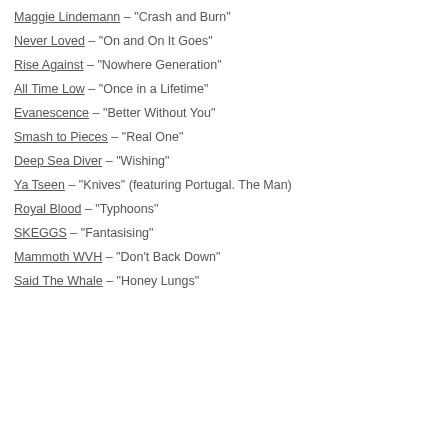Maggie Lindemann – “Crash and Burn”
Never Loved – “On and On It Goes”
Rise Against – “Nowhere Generation”
All Time Low – “Once in a Lifetime”
Evanescence – “Better Without You”
Smash to Pieces – “Real One”
Deep Sea Diver – “Wishing”
Ya Tseen – “Knives” (featuring Portugal. The Man)
Royal Blood – “Typhoons”
SKEGGS – “Fantasising”
Mammoth WVH – “Don't Back Down”
Said The Whale – “Honey Lungs”